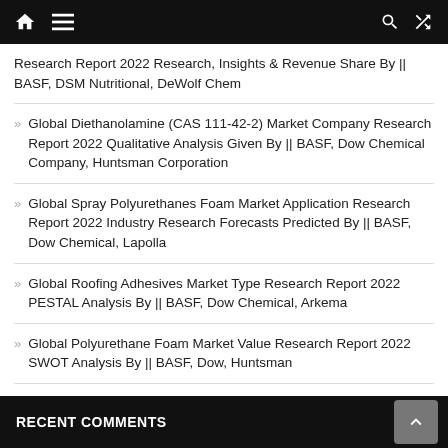Navigation bar with home, menu, search, and shuffle icons
Research Report 2022 Research, Insights & Revenue Share By || BASF, DSM Nutritional, DeWolf Chem
Global Diethanolamine (CAS 111-42-2) Market Company Research Report 2022 Qualitative Analysis Given By || BASF, Dow Chemical Company, Huntsman Corporation
Global Spray Polyurethanes Foam Market Application Research Report 2022 Industry Research Forecasts Predicted By || BASF, Dow Chemical, Lapolla
Global Roofing Adhesives Market Type Research Report 2022 PESTAL Analysis By || BASF, Dow Chemical, Arkema
Global Polyurethane Foam Market Value Research Report 2022 SWOT Analysis By || BASF, Dow, Huntsman
RECENT COMMENTS